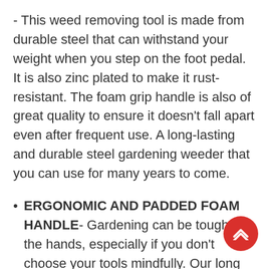- This weed removing tool is made from durable steel that can withstand your weight when you step on the foot pedal. It is also zinc plated to make it rust-resistant. The foam grip handle is also of great quality to ensure it doesn't fall apart even after frequent use. A long-lasting and durable steel gardening weeder that you can use for many years to come.
• ERGONOMIC AND PADDED FOAM HANDLE- Gardening can be tough on the hands, especially if you don't choose your tools mindfully. Our long handle weeder isn't only effective but very comfortable to use too. It has a foam padded handle to provide better grip and added comfort, making it easier to